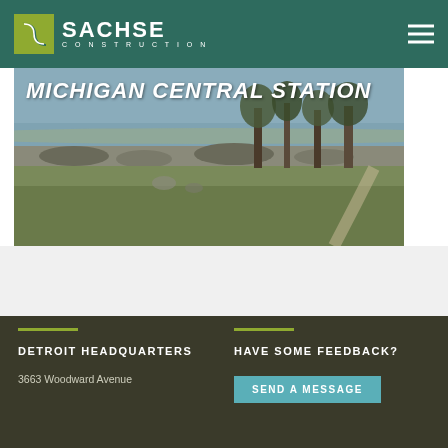SACHSE CONSTRUCTION
[Figure (photo): Outdoor waterfront scene with lake, trees, rocks, and grass. Overlay text reads MICHIGAN CENTRAL STATION.]
MICHIGAN CENTRAL STATION
DETROIT HEADQUARTERS
3663 Woodward Avenue
HAVE SOME FEEDBACK?
SEND A MESSAGE